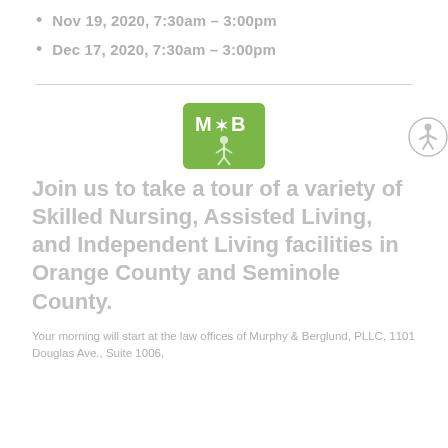Nov 19, 2020, 7:30am – 3:00pm
Dec 17, 2020, 7:30am – 3:00pm
[Figure (logo): Murphy & Berglund law firm logo — green rounded rectangle with 'M&B' text and a stylized figure]
Join us to take a tour of a variety of Skilled Nursing, Assisted Living, and Independent Living facilities in Orange County and Seminole County.
Your morning will start at the law offices of Murphy & Berglund, PLLC, 1101 Douglas Ave., Suite 1006,